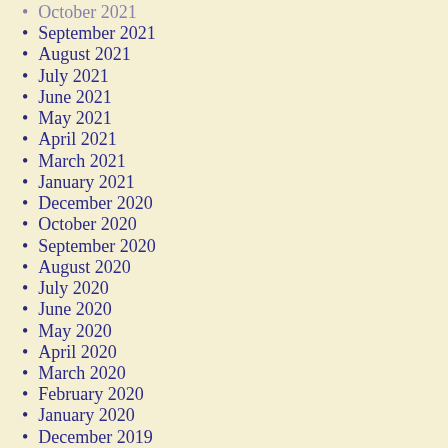October 2021
September 2021
August 2021
July 2021
June 2021
May 2021
April 2021
March 2021
January 2021
December 2020
October 2020
September 2020
August 2020
July 2020
June 2020
May 2020
April 2020
March 2020
February 2020
January 2020
December 2019
November 2019
October 2019